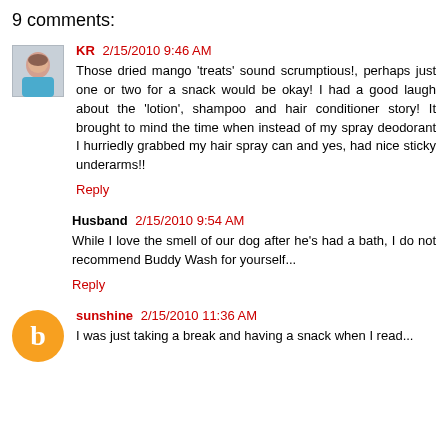9 comments:
KR 2/15/2010 9:46 AM
Those dried mango 'treats' sound scrumptious!, perhaps just one or two for a snack would be okay! I had a good laugh about the 'lotion', shampoo and hair conditioner story! It brought to mind the time when instead of my spray deodorant I hurriedly grabbed my hair spray can and yes, had nice sticky underarms!!
Reply
Husband 2/15/2010 9:54 AM
While I love the smell of our dog after he's had a bath, I do not recommend Buddy Wash for yourself...
Reply
sunshine 2/15/2010 11:36 AM
I was just taking a break and having a snack when I read...